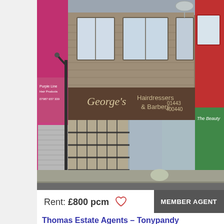[Figure (photo): Street-level photo of George's Hairdressers & Barbers shop on a high street, showing a brick building with a brown fascia sign. Adjacent shops visible including a pink-fronted store on the left and 'The Beauty' on the right.]
Rent: £800 pcm
MEMBER AGENT
Thomas Estate Agents – Tonypandy
Contact Agent